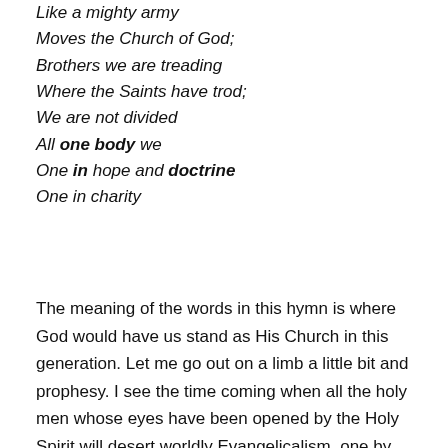Like a mighty army
Moves the Church of God;
Brothers we are treading
Where the Saints have trod;
We are not divided
All one body we
One in hope and doctrine
One in charity
The meaning of the words in this hymn is where God would have us stand as His Church in this generation. Let me go out on a limb a little bit and prophesy. I see the time coming when all the holy men whose eyes have been opened by the Holy Spirit will desert worldly Evangelicalism, one by one. The house will be left desolate and there will not be a man of God, a man in whom the Holy Spirit dwells, left among them.